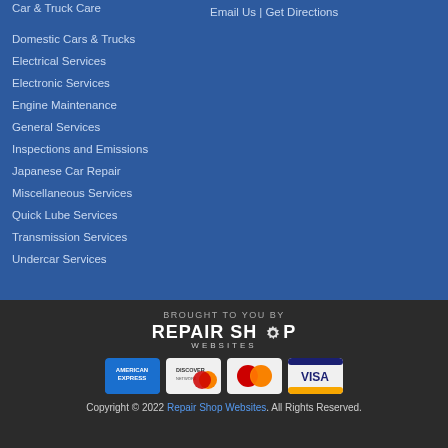Car & Truck Care
Email Us | Get Directions
Domestic Cars & Trucks
Electrical Services
Electronic Services
Engine Maintenance
General Services
Inspections and Emissions
Japanese Car Repair
Miscellaneous Services
Quick Lube Services
Transmission Services
Undercar Services
BROUGHT TO YOU BY
[Figure (logo): Repair Shop Websites logo with gear icon]
[Figure (infographic): Payment card logos: American Express, Discover, MasterCard, Visa]
Copyright © 2022 Repair Shop Websites. All Rights Reserved.